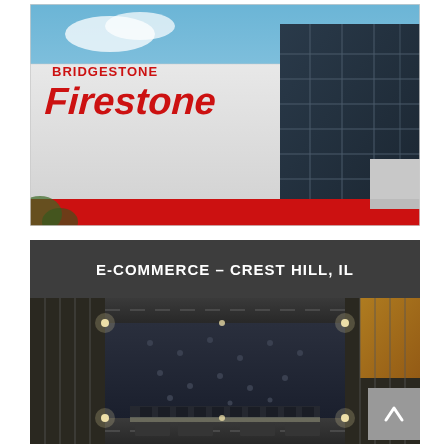[Figure (photo): Exterior of a Bridgestone Firestone building — large white facade with red Firestone logo letters, tall glass curtain-wall tower section on the right, red accent base, blue sky with clouds in background.]
[Figure (photo): Dark header banner with white bold text reading 'E-COMMERCE – CREST HILL, IL', followed by an aerial night/dusk photograph of a large warehouse or distribution center with a flat dark roof, surrounded by lit parking areas and roads.]